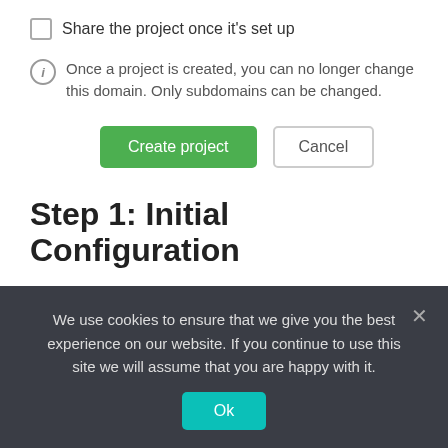Share the project once it's set up
Once a project is created, you can no longer change this domain. Only subdomains can be changed.
Create project | Cancel
Step 1: Initial Configuration
After you've formed your project, you may go on to step one: establishing your basic settings.
We use cookies to ensure that we give you the best experience on our website. If you continue to use this site we will assume that you are happy with it.